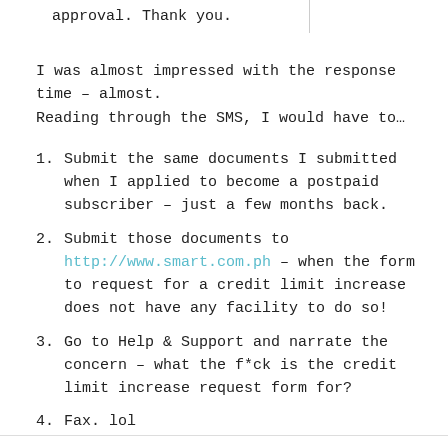approval. Thank you.
I was almost impressed with the response time – almost. Reading through the SMS, I would have to…
Submit the same documents I submitted when I applied to become a postpaid subscriber – just a few months back.
Submit those documents to http://www.smart.com.ph – when the form to request for a credit limit increase does not have any facility to do so!
Go to Help & Support and narrate the concern – what the f*ck is the credit limit increase request form for?
Fax. lol
In just an hour or so, I get another SMS: